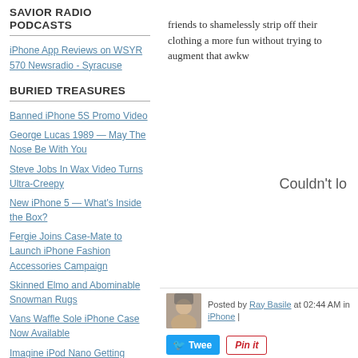SAVIOR RADIO PODCASTS
iPhone App Reviews on WSYR 570 Newsradio - Syracuse
BURIED TREASURES
Banned iPhone 5S Promo Video
George Lucas 1989 — May The Nose Be With You
Steve Jobs In Wax Video Turns Ultra-Creepy
New iPhone 5 — What's Inside the Box?
Fergie Joins Case-Mate to Launch iPhone Fashion Accessories Campaign
Skinned Elmo and Abominable Snowman Rugs
Vans Waffle Sole iPhone Case Now Available
Imagine iPod Nano Getting Longer And Smarter
Download Apple's Free iPad iOS 5.1 User Guide
Video: A Gentleman's Rant About The New iPad
Siri knows that iPad 3 is coming tomorrow
iPad 3 Facts! — Read 'Em and
friends to shamelessly strip off their clothing a more fun without trying to augment that awkw
Couldn't lo
Posted by Ray Basile at 02:44 AM in iPhone |